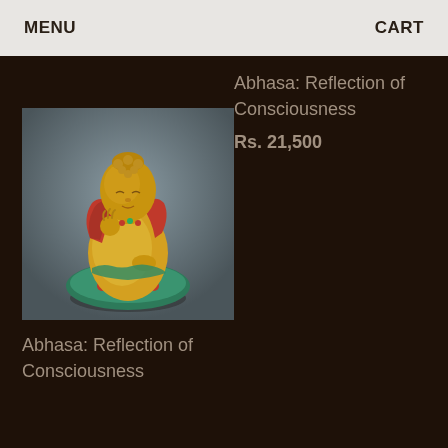MENU   CART
Abhasa: Reflection of Consciousness
Rs. 21,500
[Figure (photo): Gold-colored Buddha statue in meditation pose, wearing red and teal/green robes with jeweled embellishments, seated in lotus position against a grey blurred background]
Abhasa: Reflection of Consciousness